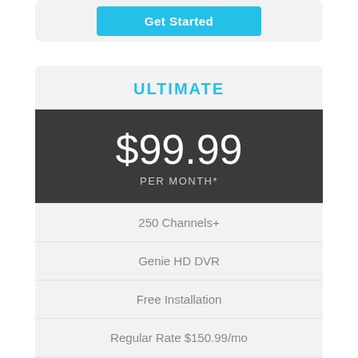[Figure (other): Get Started button (cyan/turquoise) partially visible at top of page inside a light gray card]
ULTIMATE
$99.99 PER MONTH*
250 Channels+
Genie HD DVR
Free Installation
Regular Rate $150.99/mo
Free HBO, Showtime, Starz & Cinemax for 3 months
NFL SUNDAY TICKET 2021 SEASON